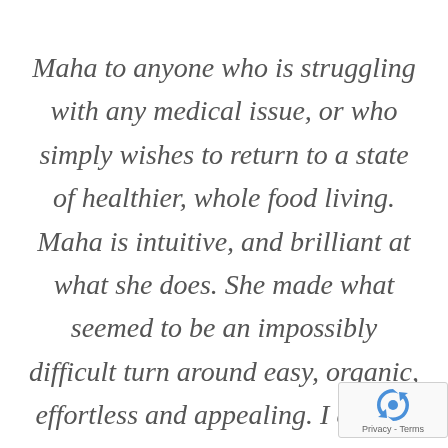Maha to anyone who is struggling with any medical issue, or who simply wishes to return to a state of healthier, whole food living. Maha is intuitive, and brilliant at what she does. She made what seemed to be an impossibly difficult turn around easy, organic, effortless and appealing. I cannot recommend Maha to anyone enough.